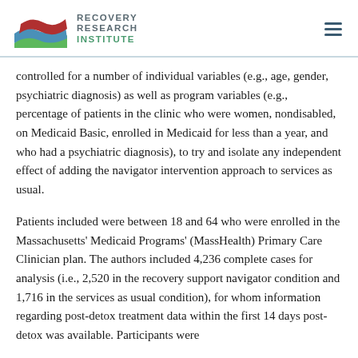Recovery Research Institute
controlled for a number of individual variables (e.g., age, gender, psychiatric diagnosis) as well as program variables (e.g., percentage of patients in the clinic who were women, nondisabled, on Medicaid Basic, enrolled in Medicaid for less than a year, and who had a psychiatric diagnosis), to try and isolate any independent effect of adding the navigator intervention approach to services as usual.
Patients included were between 18 and 64 who were enrolled in the Massachusetts' Medicaid Programs' (MassHealth) Primary Care Clinician plan. The authors included 4,236 complete cases for analysis (i.e., 2,520 in the recovery support navigator condition and 1,716 in the services as usual condition), for whom information regarding post-detox treatment data within the first 14 days post-detox was available. Participants were